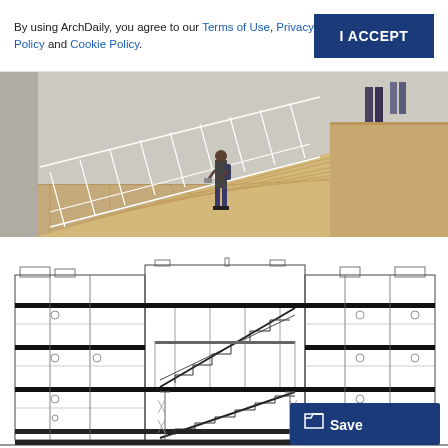By using ArchDaily, you agree to our Terms of Use, Privacy Policy and Cookie Policy.
[Figure (photo): Interior architectural photo showing a large wooden staircase with white railings in a modern building. A person with a backpack stands on the lower level looking at their phone. Light wood flooring and treads, two people visible in background on upper level.]
[Figure (engineering-diagram): Architectural cross-section drawing of a multi-story building showing structural steel frame, multiple floor levels, central staircase/atrium area with diagonal stairs, mechanical equipment on roof, and various room divisions. Black and white technical drawing.]